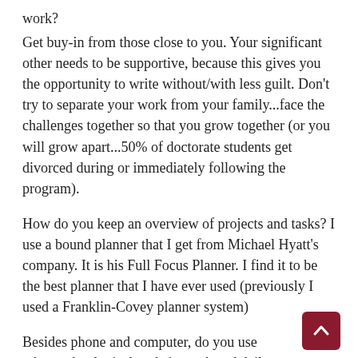work?
Get buy-in from those close to you. Your significant other needs to be supportive, because this gives you the opportunity to write without/with less guilt. Don't try to separate your work from your family...face the challenges together so that you grow together (or you will grow apart...50% of doctorate students get divorced during or immediately following the program).
How do you keep an overview of projects and tasks? I use a bound planner that I get from Michael Hyatt's company. It is his Full Focus Planner. I find it to be the best planner that I have ever used (previously I used a Franklin-Covey planner system)
Besides phone and computer, do you use other technological tools in work and daily life?